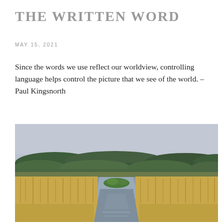THE WRITTEN WORD
MAY 15, 2021
Since the words we use reflect our worldview, controlling language helps control the picture that we see of the world. – Paul Kingsnorth
[Figure (photo): Landscape photo of a wetland or marsh with a calm water channel running through tall brown reeds, green vegetation on a small island in the middle, and a treeline with mixed green and brown trees against an overcast grey sky in the background.]